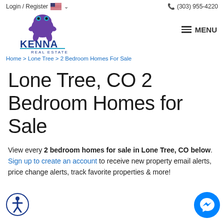Login / Register  (303) 955-4220
[Figure (logo): Kenna Real Estate logo with purple frog mascot]
Home > Lone Tree > 2 Bedroom Homes For Sale
Lone Tree, CO 2 Bedroom Homes for Sale
View every 2 bedroom homes for sale in Lone Tree, CO below. Sign up to create an account to receive new property email alerts, price change alerts, track favorite properties & more!